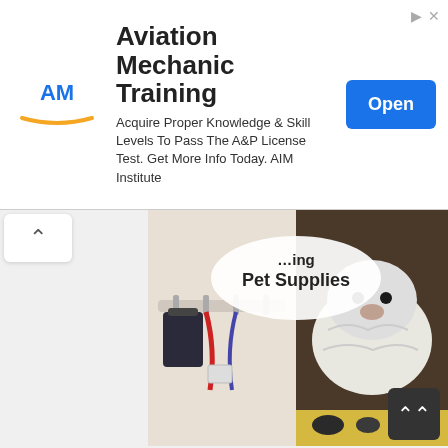[Figure (screenshot): Advertisement banner: Aviation Mechanic Training - AIM Institute logo, title, body text, and blue Open button]
[Figure (photo): Pet supplies storage image showing hooks with bags and leashes on left, white fluffy dog on right, with 'Pet Supplies' text overlay]
41 Really Amazing Pet Stuff Storage Ideas ...
[Figure (photo): Interior space with teal/blue wall, green modern chairs, palm plant, and decorative lighting]